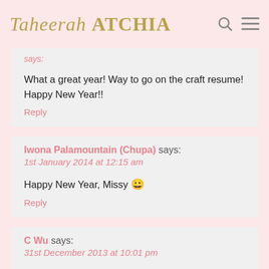Taheerah ATCHIA
What a great year! Way to go on the craft resume! Happy New Year!!
Reply
Iwona Palamountain (Chupa) says:
1st January 2014 at 12:15 am
Happy New Year, Missy 😀
Reply
C Wu says:
31st December 2013 at 10:01 pm
love your projects this year. Happy new year!